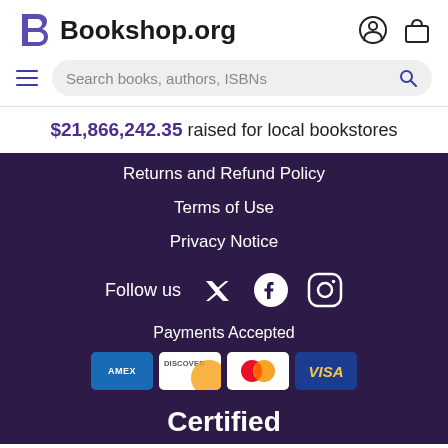Bookshop.org
Search books, authors, ISBNs
$21,866,242.35 raised for local bookstores
Returns and Refund Policy
Terms of Use
Privacy Notice
Follow us
Payments Accepted
[Figure (logo): Payment card logos: AMEX, Discover, Mastercard, Visa]
Certified